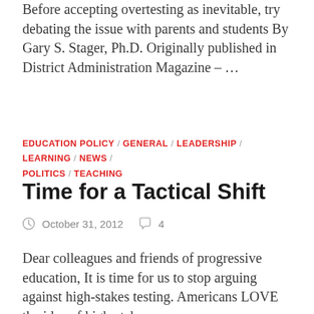Before accepting overtesting as inevitable, try debating the issue with parents and students By Gary S. Stager, Ph.D. Originally published in District Administration Magazine – …
EDUCATION POLICY / GENERAL / LEADERSHIP / LEARNING / NEWS / POLITICS / TEACHING
Time for a Tactical Shift
October 31, 2012  4
Dear colleagues and friends of progressive education, It is time for us to stop arguing against high-stakes testing. Americans LOVE the idea of high-stakes as …